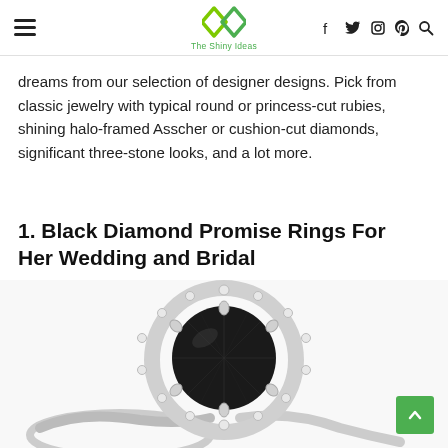The Shiny Ideas — navigation header with hamburger menu, logo, and social icons (Facebook, Twitter, Instagram, Pinterest, Search)
dreams from our selection of designer designs. Pick from classic jewelry with typical round or princess-cut rubies, shining halo-framed Asscher or cushion-cut diamonds, significant three-stone looks, and a lot more.
1. Black Diamond Promise Rings For Her Wedding and Bridal
[Figure (photo): Close-up photo of a black diamond halo engagement ring with a large round black center stone surrounded by small white diamonds in a pavé setting on a white/silver band, cropped at the bottom of the page.]